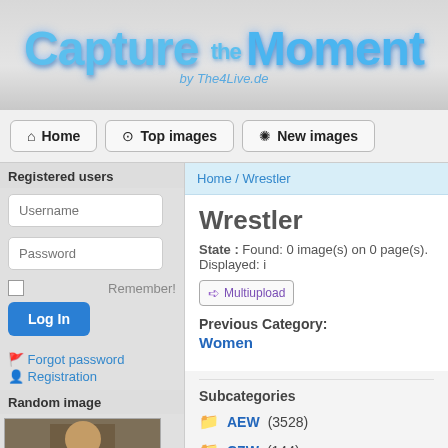[Figure (logo): Capture the Moment by The4Live.de logo in blue glossy text on gray gradient background]
Home | Top images | New images
Registered users
Username
Password
Remember!
Log In
Forgot password
Registration
Random image
Home / Wrestler
Wrestler
State : Found: 0 image(s) on 0 page(s). Displayed: i
Multiupload
Previous Category:
Women
Subcategories
AEW (3528)
CZW (144)
[Figure (photo): Thumbnail photo of a wrestler (partially visible person)]